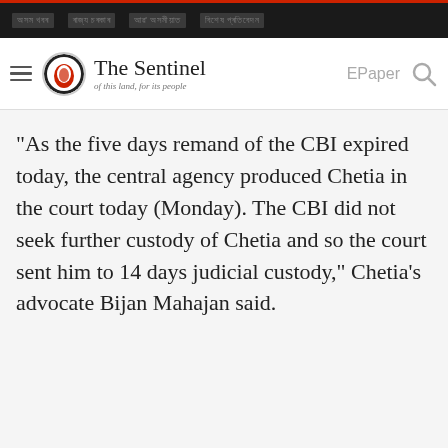[nav items in Assamese script]
[Figure (logo): The Sentinel newspaper logo with tagline 'of this land, for its people']
"As the five days remand of the CBI expired today, the central agency produced Chetia in the court today (Monday). The CBI did not seek further custody of Chetia and so the court sent him to 14 days judicial custody," Chetia's advocate Bijan Mahajan said.